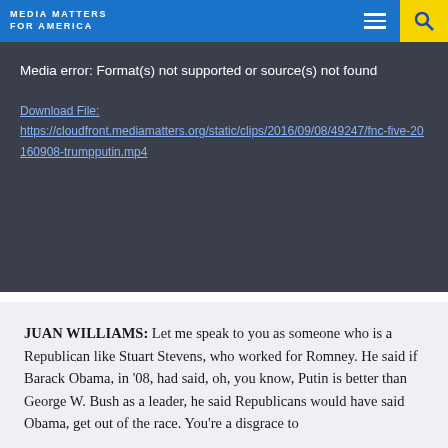MEDIA MATTERS FOR AMERICA
[Figure (screenshot): Media error box with dark background showing: 'Media error: Format(s) not supported or source(s) not found' and a download link to https://cloudfront.mediamatters.org/static/clips/2016/09/08/49247/fnc-five-20160908-trumpputin.mp4]
JUAN WILLIAMS: Let me speak to you as someone who is a Republican like Stuart Stevens, who worked for Romney. He said if Barack Obama, in '08, had said, oh, you know, Putin is better than George W. Bush as a leader, he said Republicans would have said Obama, get out of the race. You're a disgrace to